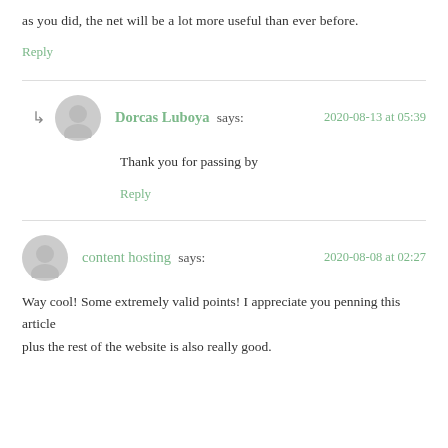as you did, the net will be a lot more useful than ever before.
Reply
Dorcas Luboya says: 2020-08-13 at 05:39
Thank you for passing by
Reply
content hosting says: 2020-08-08 at 02:27
Way cool! Some extremely valid points! I appreciate you penning this article plus the rest of the website is also really good.